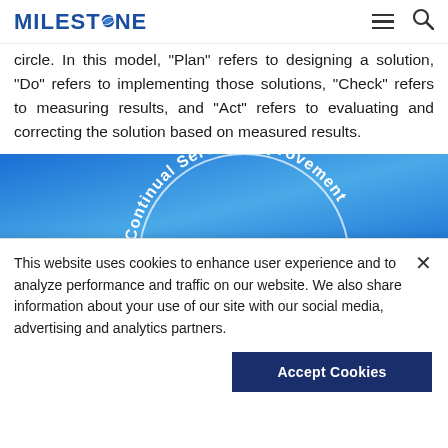MILESTONE
circle. In this model, “Plan” refers to designing a solution, “Do” refers to implementing those solutions, “Check” refers to measuring results, and “Act” refers to evaluating and correcting the solution based on measured results.
[Figure (illustration): Blue banner showing a circular diagram with text 'Continual Service Improvement' arranged in an arc]
This website uses cookies to enhance user experience and to analyze performance and traffic on our website. We also share information about your use of our site with our social media, advertising and analytics partners.